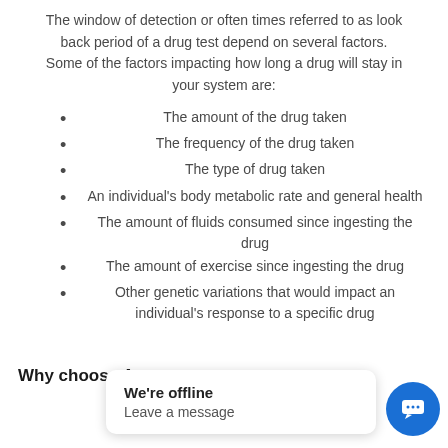The window of detection or often times referred to as look back period of a drug test depend on several factors. Some of the factors impacting how long a drug will stay in your system are:
The amount of the drug taken
The frequency of the drug taken
The type of drug taken
An individual's body metabolic rate and general health
The amount of fluids consumed since ingesting the drug
The amount of exercise since ingesting the drug
Other genetic variations that would impact an individual's response to a specific drug
Why choose Accr… un
[Figure (screenshot): Chat widget overlay showing 'We're offline / Leave a message' popup and a blue chat button icon in the bottom right corner]